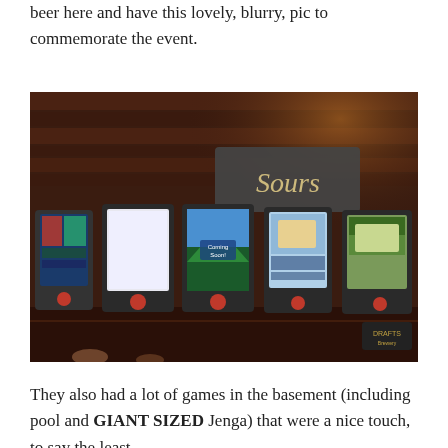beer here and have this lovely, blurry, pic to commemorate the event.
[Figure (photo): A row of digital beer tap screens mounted on a dark wood bar wall, with a sign reading 'Sours' above them. The screens show various beer labels and 'Coming Soon!' messages. The photo is blurry and taken in dim bar lighting.]
They also had a lot of games in the basement (including pool and GIANT SIZED Jenga) that were a nice touch, to say the least.